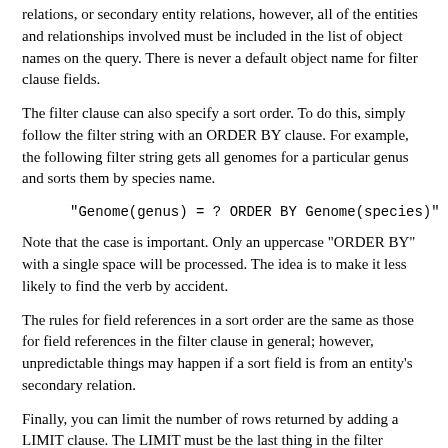relations, or secondary entity relations, however, all of the entities and relationships involved must be included in the list of object names on the query. There is never a default object name for filter clause fields.
The filter clause can also specify a sort order. To do this, simply follow the filter string with an ORDER BY clause. For example, the following filter string gets all genomes for a particular genus and sorts them by species name.
Note that the case is important. Only an uppercase "ORDER BY" with a single space will be processed. The idea is to make it less likely to find the verb by accident.
The rules for field references in a sort order are the same as those for field references in the filter clause in general; however, unpredictable things may happen if a sort field is from an entity's secondary relation.
Finally, you can limit the number of rows returned by adding a LIMIT clause. The LIMIT must be the last thing in the filter clause, and it contains only the word "LIMIT" followed by a positive number. So, for example
"Genome(genus) = ? ORDER BY Genome(species) LIMIT ..."